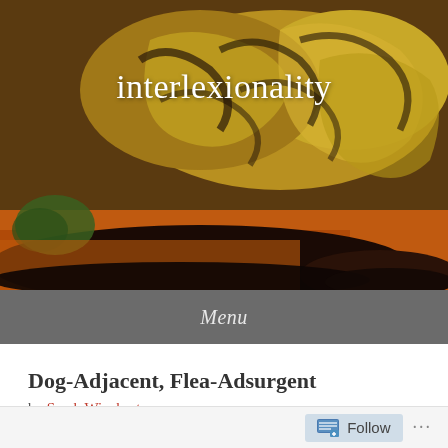[Figure (illustration): Detail of an expressionist oil painting featuring swirling brushstrokes in yellow, gold, dark brown and orange tones, resembling a Van Gogh style depiction of foliage or animals. A patch of green and orange is visible in the lower left area.]
interlexionality
Menu
Dog-Adjacent, Flea-Adsurgent
by Sarah Winchester
Follow ...